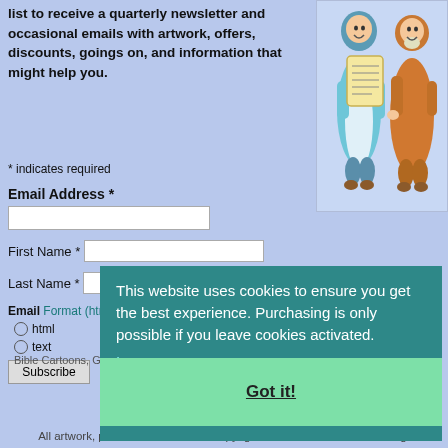list to receive a quarterly newsletter and occasional emails with artwork, offers, discounts, goings on, and information that might help you.
[Figure (illustration): Cartoon illustration of two biblical figures, one holding a scroll, drawn in a colorful style]
* indicates required
Email Address *
First Name *
Last Name *
Email Format (html = with pretty pictures!)
html
text
Subscribe
This website uses cookies to ensure you get the best experience. Purchasing is only possible if you leave cookies activated.
Learn more
Bible Cartoons, Gospel Illustrations and Meta4 Pictures designed, drawn and coloured by Martin Young.
Got it!
All artwork, pictures and contents Copyright © 2009 - 2022 Martin Young.